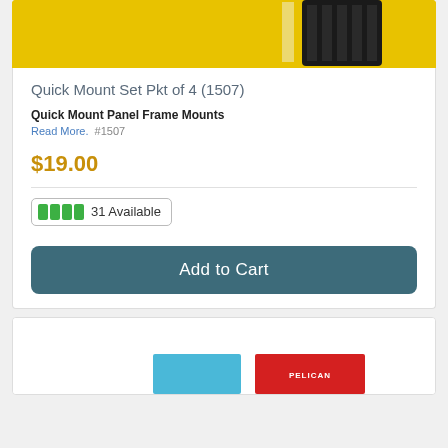[Figure (photo): Product photo showing a black Quick Mount panel frame mount against a yellow background]
Quick Mount Set Pkt of 4 (1507)
Quick Mount Panel Frame Mounts
Read More. #1507
$19.00
31 Available
Add to Cart
[Figure (photo): Bottom portion of a second product card showing blue and red Pelican product boxes]